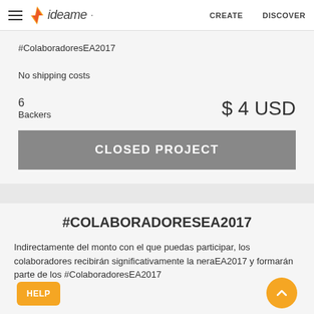ideame CREATE DISCOVER
#ColaboradoresEA2017
No shipping costs
6 Backers
$ 4 USD
CLOSED PROJECT
#COLABORADORESEA2017
Indirectamente del monto con el que puedas participar, los colaboradores recibirán significativamente la neraEA2017 y formarán parte de los #ColaboradoresEA2017